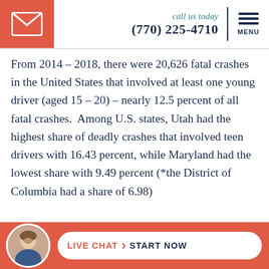call us today (770) 225-4710
From 2014 – 2018, there were 20,626 fatal crashes in the United States that involved at least one young driver (aged 15 – 20) – nearly 12.5 percent of all fatal crashes.  Among U.S. states, Utah had the highest share of deadly crashes that involved teen drivers with 16.43 percent, while Maryland had the lowest share with 9.49 percent (*the District of Columbia had a share of 6.98)
LIVE CHAT  START NOW